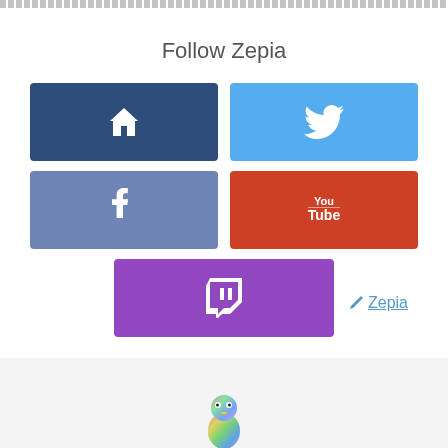▪▪▪▪▪▪▪▪▪▪▪▪▪▪▪▪▪▪▪▪▪▪▪▪▪▪▪▪▪▪▪▪▪▪▪▪▪▪▪▪▪
Follow Zepia
[Figure (infographic): Five social media buttons: Home (dark blue, house icon), Twitter (light blue, bird icon), Facebook (medium blue, f icon), YouTube (red, YouTube logo), Twitch (purple, Twitch logo)]
✏ Zepia
[Figure (illustration): Colorful parrot mascot icon at bottom center]